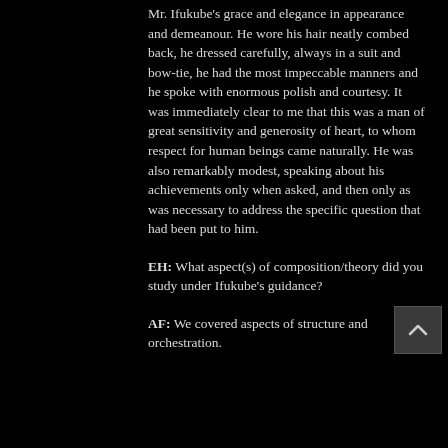Mr. Ifukube's grace and elegance in appearance and demeanour. He wore his hair neatly combed back, he dressed carefully, always in a suit and bow-tie, he had the most impeccable manners and he spoke with enormous polish and courtesy. It was immediately clear to me that this was a man of great sensitivity and generosity of heart, to whom respect for human beings came naturally. He was also remarkably modest, speaking about his achievements only when asked, and then only as was necessary to address the specific question that had been put to him.
EH: What aspect(s) of composition/theory did you study under Ifukube's guidance?
AF: We covered aspects of structure and orchestration.